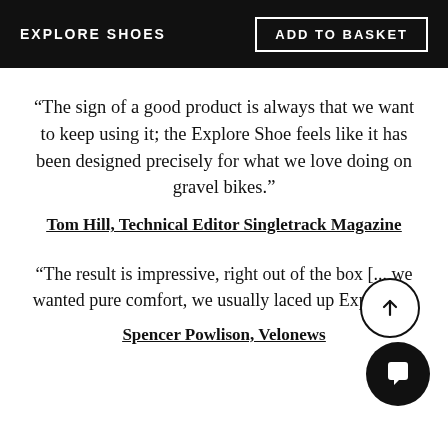EXPLORE SHOES | ADD TO BASKET
“The sign of a good product is always that we want to keep using it; the Explore Shoe feels like it has been designed precisely for what we love doing on gravel bikes.”
Tom Hill, Technical Editor Singletrack Magazine
“The result is impressive, right out of the box [... we wanted pure comfort, we usually laced up Explores.”
Spencer Powlison, Velonews